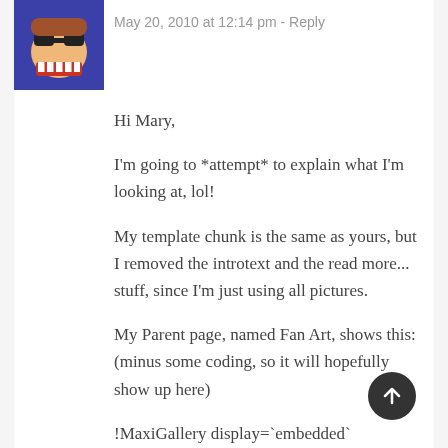[Figure (illustration): Cartoon avatar image of a character with sunglasses and large teeth on a blue/purple background]
May 20, 2010 at 12:14 pm - Reply
Hi Mary,

I'm going to *attempt* to explain what I'm looking at, lol!

My template chunk is the same as yours, but I removed the introtext and the read more... stuff, since I'm just using all pictures.

My Parent page, named Fan Art, shows this: (minus some coding, so it will hopefully show up here)

!MaxiGallery display=`embedded` embedtype=`slimbox` pics_per_row=3` max_thumb_size=273 `max_pic_size=700`